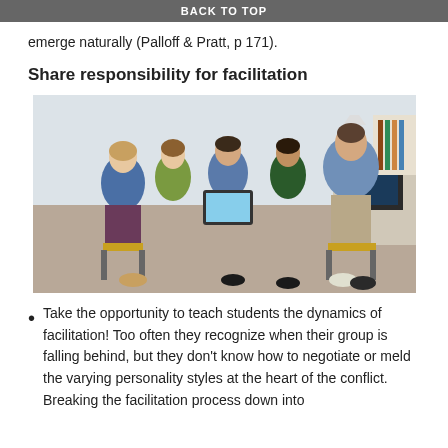BACK TO TOP
emerge naturally (Palloff & Pratt, p 171).
Share responsibility for facilitation
[Figure (photo): Five students and a teacher/facilitator sitting in a circle in an office/classroom setting, looking at a tablet device together. There is a desk with a computer monitor in the background.]
Take the opportunity to teach students the dynamics of facilitation! Too often they recognize when their group is falling behind, but they don't know how to negotiate or meld the varying personality styles at the heart of the conflict. Breaking the facilitation process down into